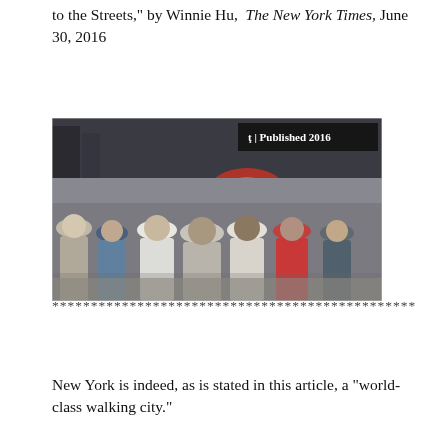to the Streets,” by Winnie Hu, The New York Times, June 30, 2016
[Figure (photo): Crowded New York City street scene with many pedestrians walking, an ambulance with lights on in the background, and city buildings. Banner in upper right reads 'ţ | Published 2016'.]
***********************************************
New York is indeed, as is stated in this article, a “world-class walking city.”